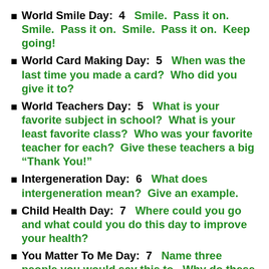World Smile Day: 4 Smile. Pass it on. Smile. Pass it on. Smile. Pass it on. Keep going!
World Card Making Day: 5 When was the last time you made a card? Who did you give it to?
World Teachers Day: 5 What is your favorite subject in school? What is your least favorite class? Who was your favorite teacher for each? Give these teachers a big “Thank You!”
Intergeneration Day: 6 What does intergeneration mean? Give an example.
Child Health Day: 7 Where could you go and what could you do this day to improve your health?
You Matter To Me Day: 7 Name three people you would say this to. Why do these people matter? Tell them.
National Face Your Fears Day: 8 Name a fear you